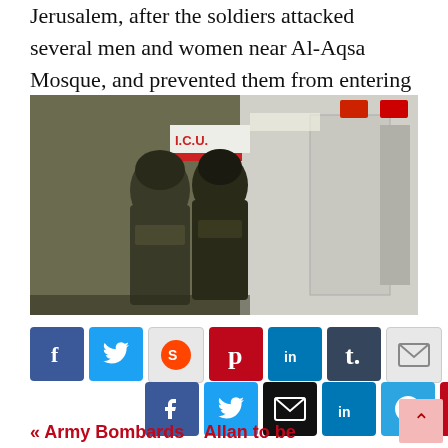Jerusalem, after the soldiers attacked several men and women near Al-Aqsa Mosque, and prevented them from entering it.
[Figure (photo): Military soldiers in tactical gear near an ambulance/ICU vehicle, outdoors urban scene]
[Figure (infographic): Social media share buttons row 1: Facebook, Twitter, Reddit, Pinterest, LinkedIn, Tumblr, Email]
[Figure (infographic): Social media share buttons row 2: Facebook, Twitter, Email, LinkedIn, Telegram, Pinterest]
« Army Bombards   Allan to be